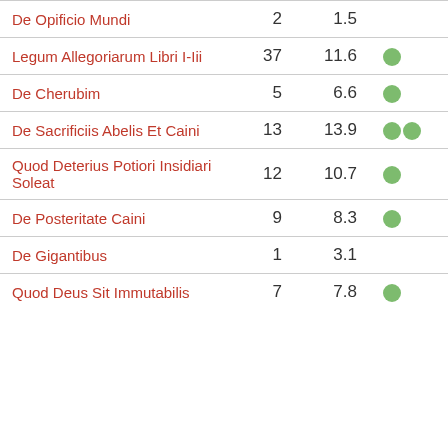| Title | Count | Pct | Indicators |
| --- | --- | --- | --- |
| De Opificio Mundi | 2 | 1.5 |  |
| Legum Allegoriarum Libri I-Iii | 37 | 11.6 | ● |
| De Cherubim | 5 | 6.6 | ● |
| De Sacrificiis Abelis Et Caini | 13 | 13.9 | ●● |
| Quod Deterius Potiori Insidiari Soleat | 12 | 10.7 | ● |
| De Posteritate Caini | 9 | 8.3 | ● |
| De Gigantibus | 1 | 3.1 |  |
| Quod Deus Sit Immutabilis | 7 | 7.8 | ● |